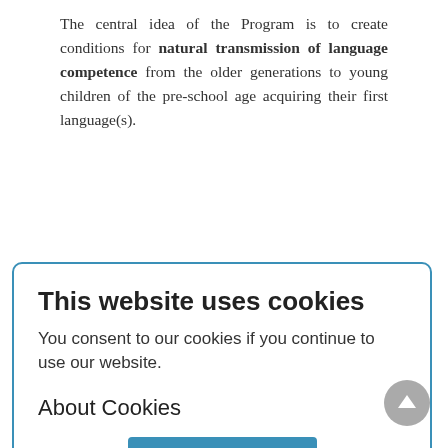The central idea of the Program is to create conditions for natural transmission of language competence from the older generations to young children of the pre-school age acquiring their first language(s).
In this section,
I outline the main approaches and methods under consideration which will be finalized in the course of the Program's development. These approaches vary depending on the type of language situation.
Table 3 shows a rough classification of language situations, largely following what is already familiar from Table 2. There are two differences from the list of types found in Table 2. First, Type 0 (safe languages) is
[Figure (screenshot): Cookie consent modal dialog overlaying the page content. Title: 'This website uses cookies'. Body text: 'You consent to our cookies if you continue to use our website.' Section header: 'About Cookies'. Blue OK button centered at bottom.]